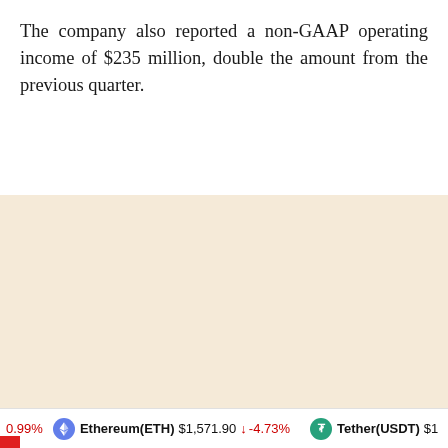The company also reported a non-GAAP operating income of $235 million, double the amount from the previous quarter.
0.99%  Ethereum(ETH) $1,571.90 ↓ -4.73%  Tether(USDT) $1...